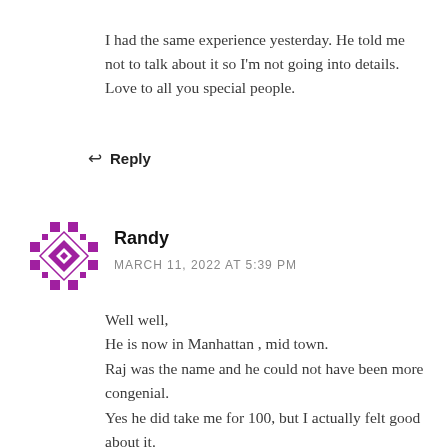I had the same experience yesterday. He told me not to talk about it so I'm not going into details. Love to all you special people.
↩ Reply
[Figure (illustration): Purple mosaic/geometric avatar icon for user Randy]
Randy
MARCH 11, 2022 AT 5:39 PM
Well well,
He is now in Manhattan , mid town.
Raj was the name and he could not have been more congenial.
Yes he did take me for 100, but I actually felt good about it.
He also gave me a phone number on WhatsApp
.He said he had been in NY for a month and was